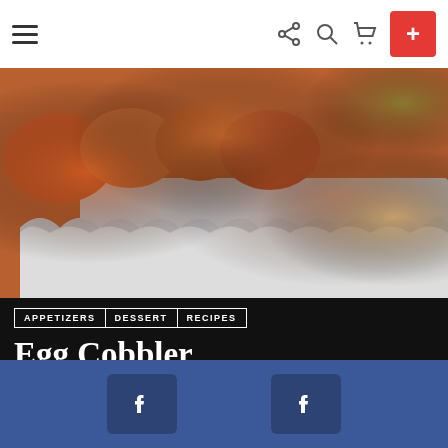Navigation bar with hamburger menu, share, search, cart icons, and + button
[Figure (photo): Close-up photo of an egg cobbler dish in a white scalloped baking dish, showing baked eggs with sausage and herbs]
APPETIZERS  DESSERT  RECIPES
Egg Cobbler
by Allfoodrecipes
9 years ago
1.6k Views
The table seems so empty without some sort of original dish? You don't want Party to be a dull and